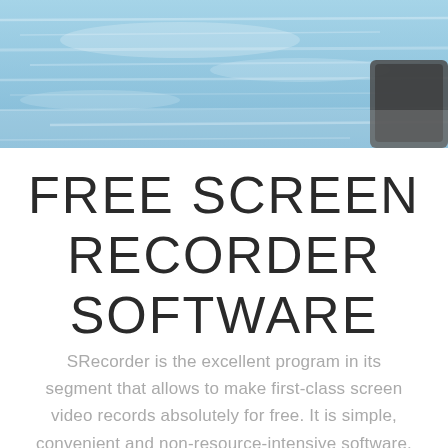[Figure (photo): Aerial or close-up photo of blue water/ocean surface with light reflections, and a partial dark object (possibly a boat or device) visible in the upper right corner.]
FREE SCREEN RECORDER SOFTWARE
SRecorder is the excellent program in its segment that allows to make first-class screen video records absolutely for free. It is simple, convenient and non-resource-intensive software.